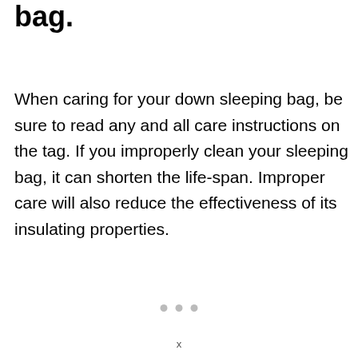bag.
When caring for your down sleeping bag, be sure to read any and all care instructions on the tag. If you improperly clean your sleeping bag, it can shorten the life-span. Improper care will also reduce the effectiveness of its insulating properties.